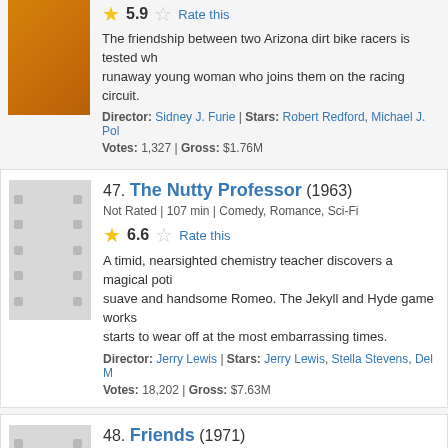5.9 Rate this — The friendship between two Arizona dirt bike racers is tested wh... runaway young woman who joins them on the racing circuit. Director: Sidney J. Furie | Stars: Robert Redford, Michael J. Pol... Votes: 1,327 | Gross: $1.76M
47. The Nutty Professor (1963) — Not Rated | 107 min | Comedy, Romance, Sci-Fi — 6.6 Rate this — A timid, nearsighted chemistry teacher discovers a magical poti... suave and handsome Romeo. The Jekyll and Hyde game works... starts to wear off at the most embarrassing times. Director: Jerry Lewis | Stars: Jerry Lewis, Stella Stevens, Del M... Votes: 18,202 | Gross: $7.63M
48. Friends (1971) — R | 101 min | Drama, Romance — 6.5 Rate this — A rich English boy meets an orphaned French girl and as they b... far away from the adult world we live in.